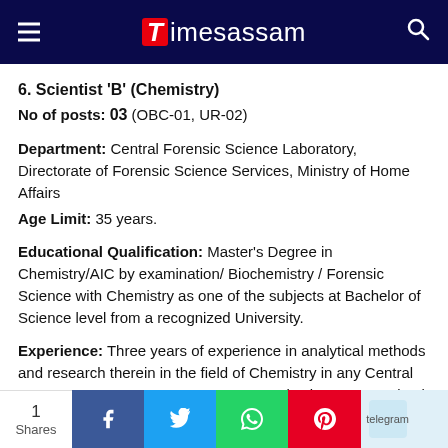Timesassam
6. Scientist 'B' (Chemistry)
No of posts: 03 (OBC-01, UR-02)
Department: Central Forensic Science Laboratory, Directorate of Forensic Science Services, Ministry of Home Affairs
Age Limit: 35 years.
Educational Qualification: Master's Degree in Chemistry/AIC by examination/ Biochemistry / Forensic Science with Chemistry as one of the subjects at Bachelor of Science level from a recognized University.
Experience: Three years of experience in analytical methods and research therein in the field of Chemistry in any Central Government or State Government organization or recognized research institute